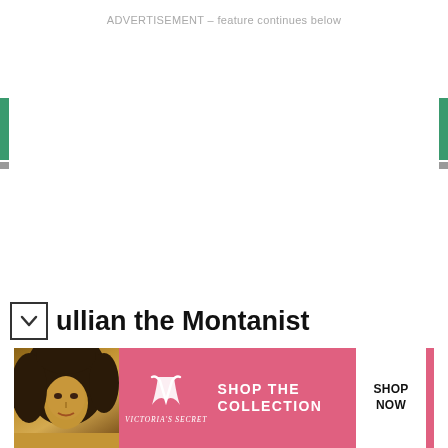ADVERTISEMENT – feature continues below
Tertullian the Montanist
[Figure (photo): Victoria's Secret advertisement banner featuring a woman with curly hair, the Victoria's Secret logo, text 'SHOP THE COLLECTION', and a 'SHOP NOW' button on a pink background.]